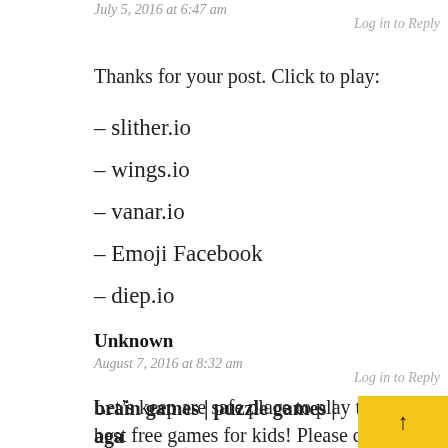July 5, 2016 at 6:47 am
Log in to Reply
Thanks for your post. Click to play:
– slither.io
– wings.io
– vanar.io
– Emoji Facebook
– diep.io
Unknown
August 7, 2016 at 8:32 am
Log in to Reply
Let's keep are safe place to play the very best free games for kids! Please click:
brain games | puzzle games | aga…